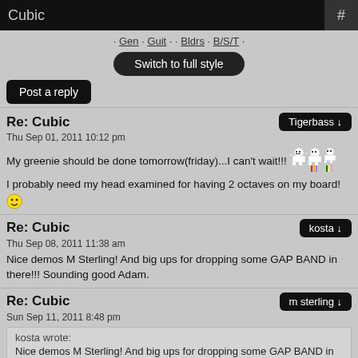Cubic  #
· Gen · Guit · · Bldrs · B/S/T ·
Switch to full style
Post a reply
Re: Cubic
Thu Sep 01, 2011 10:12 pm
My greenie should be done tomorrow(friday)...I can't wait!!! [emojis] I probably need my head examined for having 2 octaves on my board! [emoji]
Re: Cubic
Thu Sep 08, 2011 11:38 am
Nice demos M Sterling! And big ups for dropping some GAP BAND in there!!! Sounding good Adam.
Re: Cubic
Sun Sep 11, 2011 8:48 pm
kosta wrote:
Nice demos M Sterling! And big ups for dropping some GAP BAND in there!!! Sounding good Adam.
Thanks for telling me a...